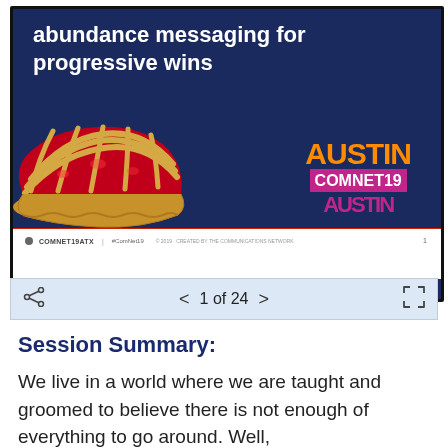[Figure (screenshot): A presentation slide screenshot showing 'abundance messaging for progressive wins' title in white on dark navy background with cherry pie image on left and AUSTIN COMNET19 badge on right. Below the slide is a navigation bar showing '1 of 24' with forward/back arrows and share/fullscreen icons.]
Session Summary:
We live in a world where we are taught and groomed to believe there is not enough of everything to go around. Well,